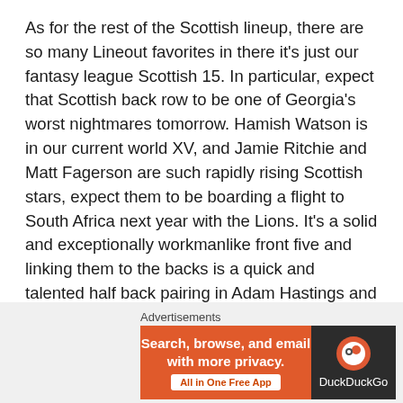As for the rest of the Scottish lineup, there are so many Lineout favorites in there it's just our fantasy league Scottish 15. In particular, expect that Scottish back row to be one of Georgia's worst nightmares tomorrow. Hamish Watson is in our current world XV, and Jamie Ritchie and Matt Fagerson are such rapidly rising Scottish stars, expect them to be boarding a flight to South Africa next year with the Lions. It's a solid and exceptionally workmanlike front five and linking them to the backs is a quick and talented half back pairing in Adam Hastings and Ali Price. South African Duhan van der Merwe gets his first Scottish jersey after impressing the selectors with his performances with Edinburgh. Shoring everything up at the back is Mr. Excitement on the wing Graham Darcy and the always reliable and pacy Blair Kinghorn. In short a formidable starting XV with plenty of X-factor on the bench. Scotland
Advertisements
[Figure (infographic): DuckDuckGo advertisement banner: orange left panel with text 'Search, browse, and email with more privacy. All in One Free App' and dark right panel with DuckDuckGo logo and name.]